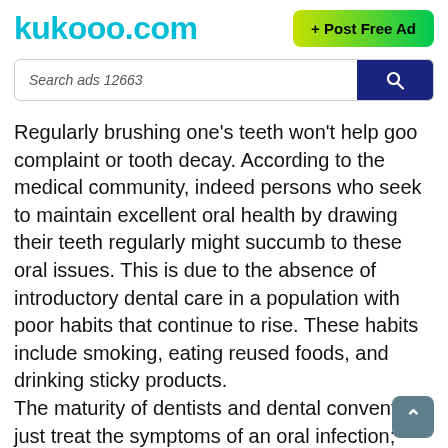kukooo.com
[Figure (other): Green gradient button with text '+ Post Free Ad']
[Figure (other): Search bar with placeholder text 'Search ads 12663' and dark blue search button with magnifying glass icon]
Regularly brushing one’s teeth won’t help goo complaint or tooth decay. According to the medical community, indeed persons who seek to maintain excellent oral health by drawing their teeth regularly might succumb to these oral issues. This is due to the absence of introductory dental care in a population with poor habits that continue to rise. These habits include smoking, eating reused foods, and drinking sticky products. The maturity of dentists and dental conventions just treat the symptoms of an oral infection; these treatments should rather concentrate on eradicating all of the dangerous origins that live